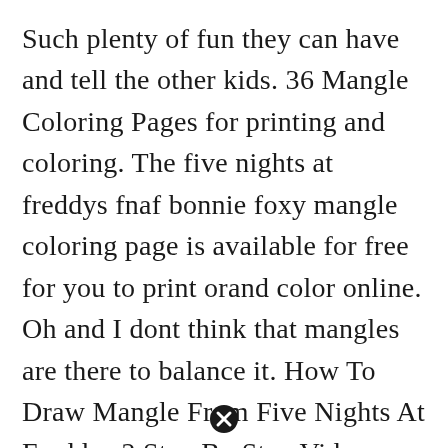Such plenty of fun they can have and tell the other kids. 36 Mangle Coloring Pages for printing and coloring. The five nights at freddys fnaf bonnie foxy mangle coloring page is available for free for you to print orand color online. Oh and I dont think that mangles are there to balance it. How To Draw Mangle From Five Nights At Freddys 2 Step By Step Video Game Characters Pop Culture Free Onlin Fnaf Coloring Pages Coloring Pages Fnaf Drawings.
[Figure (other): A circular close/cancel button icon (black circle with white X)]